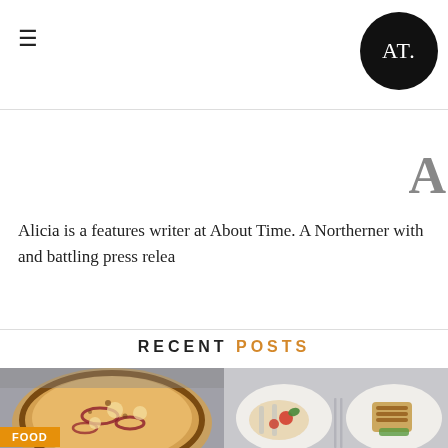≡   AT (logo)
Alicia is a features writer at About Time. A Northerner with and battling press relea
RECENT POSTS
[Figure (photo): Pizza with red onions, cheese and toppings on a wooden surface, with a FOOD badge overlay]
[Figure (photo): Grilled food plates with vegetables, tomatoes and forks on a white background]
76 (Facebook share count) and Twitter share button